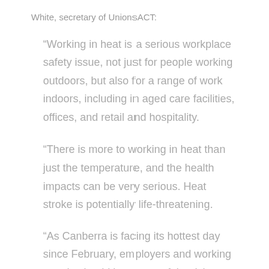White, secretary of UnionsACT:
“Working in heat is a serious workplace safety issue, not just for people working outdoors, but also for a range of work indoors, including in aged care facilities, offices, and retail and hospitality.
“There is more to working in heat than just the temperature, and the health impacts can be very serious. Heat stroke is potentially life-threatening.
“As Canberra is facing its hottest day since February, employers and working people should be aware of the risks. Employers in